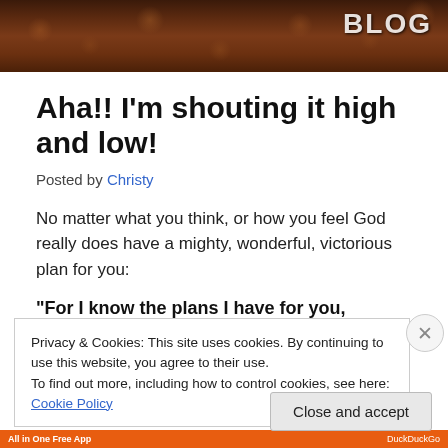[Figure (photo): Dark brown ornate patterned banner header with a logo in the top right corner]
Aha!! I'm shouting it high and low!
Posted by Christy
No matter what you think, or how you feel God really does have a mighty, wonderful, victorious plan for you:
“For I know the plans I have for you, “declares the
Privacy & Cookies: This site uses cookies. By continuing to use this website, you agree to their use.
To find out more, including how to control cookies, see here: Cookie Policy
Close and accept